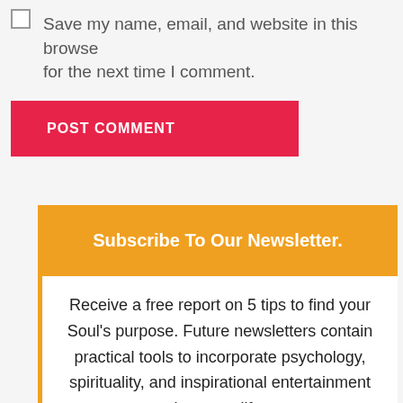Save my name, email, and website in this browse for the next time I comment.
POST COMMENT
Subscribe To Our Newsletter.
Receive a free report on 5 tips to find your Soul's purpose. Future newsletters contain practical tools to incorporate psychology, spirituality, and inspirational entertainment into your life.